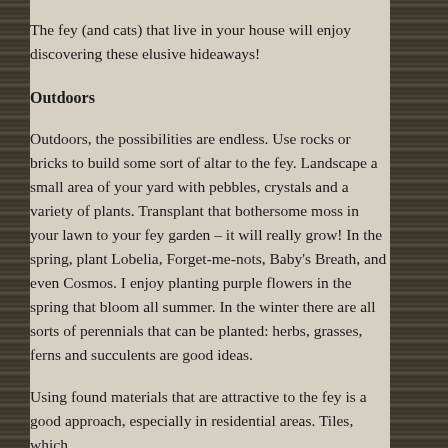The fey (and cats) that live in your house will enjoy discovering these elusive hideaways!
Outdoors
Outdoors, the possibilities are endless. Use rocks or bricks to build some sort of altar to the fey. Landscape a small area of your yard with pebbles, crystals and a variety of plants. Transplant that bothersome moss in your lawn to your fey garden – it will really grow! In the spring, plant Lobelia, Forget-me-nots, Baby's Breath, and even Cosmos. I enjoy planting purple flowers in the spring that bloom all summer. In the winter there are all sorts of perennials that can be planted: herbs, grasses, ferns and succulents are good ideas.
Using found materials that are attractive to the fey is a good approach, especially in residential areas. Tiles, which